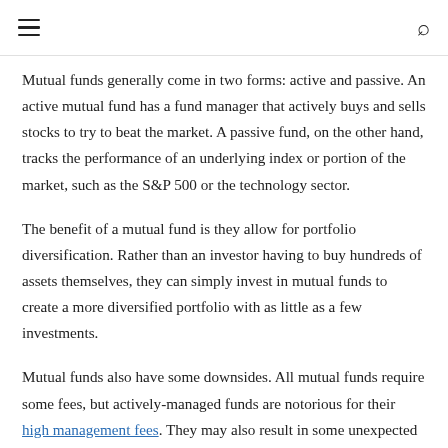≡  🔍
Mutual funds generally come in two forms: active and passive. An active mutual fund has a fund manager that actively buys and sells stocks to try to beat the market. A passive fund, on the other hand, tracks the performance of an underlying index or portion of the market, such as the S&P 500 or the technology sector.
The benefit of a mutual fund is they allow for portfolio diversification. Rather than an investor having to buy hundreds of assets themselves, they can simply invest in mutual funds to create a more diversified portfolio with as little as a few investments.
Mutual funds also have some downsides. All mutual funds require some fees, but actively-managed funds are notorious for their high management fees. They may also result in some unexpected tax consequences. As a fund manager buys and sells assets, gains are passed along to investors, who may be on the hook for capital gains